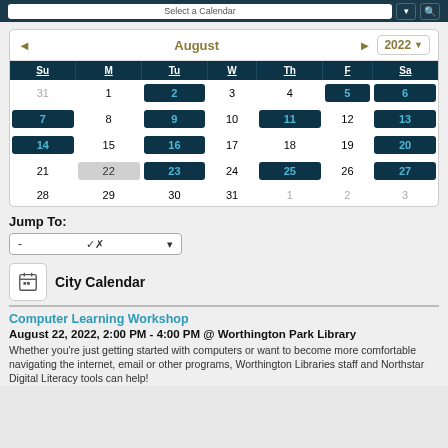[Figure (other): Calendar widget showing August 2022 with highlighted dates (2, 5, 6, 7, 9, 11, 13, 14, 16, 20, 23, 25, 27) and date 22 selected/highlighted in gray]
Jump To:
- (dropdown)
City Calendar
Computer Learning Workshop
August 22, 2022, 2:00 PM - 4:00 PM @ Worthington Park Library
Whether you're just getting started with computers or want to become more comfortable navigating the internet, email or other programs, Worthington Libraries staff and Northstar Digital Literacy tools can help!